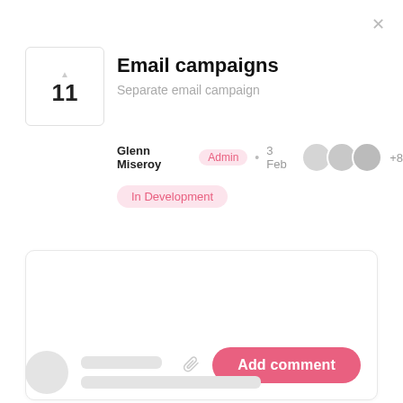×
11
Email campaigns
Separate email campaign
Glenn Miseroy  Admin  •  3 Feb  +8
In Development
[Figure (screenshot): Comment input box with paperclip icon and Add comment button]
[Figure (infographic): Skeleton loading placeholder with avatar circle and two grey lines]